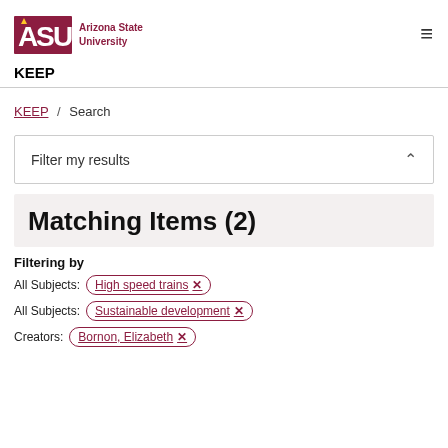ASU Arizona State University | KEEP
KEEP / Search
Filter my results
Matching Items (2)
Filtering by
All Subjects: High speed trains ✕
All Subjects: Sustainable development ✕
Creators: Bornon, Elizabeth ✕